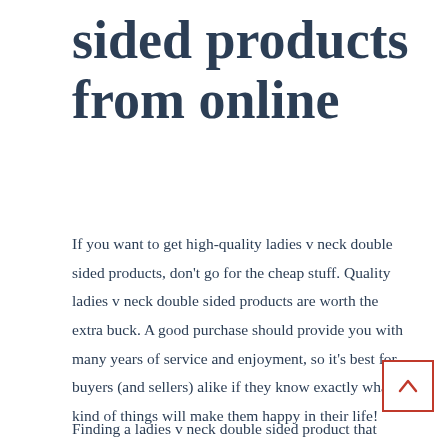sided products from online
If you want to get high-quality ladies v neck double sided products, don't go for the cheap stuff. Quality ladies v neck double sided products are worth the extra buck. A good purchase should provide you with many years of service and enjoyment, so it's best for buyers (and sellers) alike if they know exactly what kind of things will make them happy in their life!
Finding a ladies v neck double sided product that